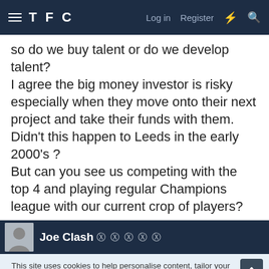TFC  Log in  Register
so do we buy talent or do we develop talent?
I agree the big money investor is risky especially when they move onto their next project and take their funds with them. Didn't this happen to Leeds in the early 2000's ?
But can you see us competing with the top 4 and playing regular Champions league with our current crop of players?
Joe Clash 🏆🏆🏆🏆🏆
This site uses cookies to help personalise content, tailor your experience and to keep you logged in if you register.
By continuing to use this site, you are consenting to our use of cookies.
✓ ACCEPT   LEARN MORE...